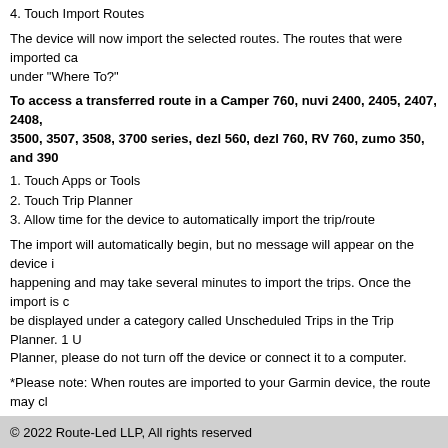4. Touch Import Routes
The device will now import the selected routes. The routes that were imported can be found under "Where To?"
To access a transferred route in a Camper 760, nuvi 2400, 2405, 2407, 2408, 3500, 3507, 3508, 3700 series, dezl 560, dezl 760, RV 760, zumo 350, and 390:
1. Touch Apps or Tools
2. Touch Trip Planner
3. Allow time for the device to automatically import the trip/route
The import will automatically begin, but no message will appear on the device indicating this is happening and may take several minutes to import the trips. Once the import is complete, trips will be displayed under a category called Unscheduled Trips in the Trip Planner. 1 Until importing is complete in Trip Planner, please do not turn off the device or connect it to a computer.
*Please note: When routes are imported to your Garmin device, the route may change based on the maps within your device.
1 The Camper 760, RV 760, nuvi 2407, 2408, 2507, 2508, 2707, 2708, 3507, 3508, zumo 350, and 390 can send routes created using Trip Planner to BaseCamp. The remaining devices in the list above cannot send routes to BaseCamp. However, devices that utilize Trip Planner will import routes from BaseCamp, with the exception of the nuvi 2200 and 2300 series devices.
© 2022 Route-Led LLP, All rights reserved